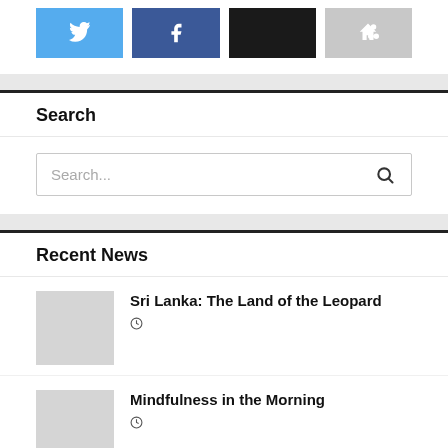[Figure (other): Social share buttons: Twitter (blue), Facebook (dark blue), black button, gray share button]
Search
[Figure (other): Search input box with placeholder text 'Search...' and a magnifying glass icon]
Recent News
[Figure (other): Thumbnail image placeholder (gray)]
Sri Lanka: The Land of the Leopard
[Figure (other): Thumbnail image placeholder (gray)]
Mindfulness in the Morning